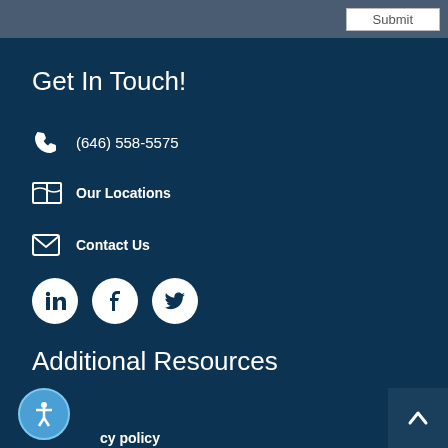Submit
Get In Touch!
(646) 558-5575
Our Locations
Contact Us
[Figure (illustration): Social media icons: LinkedIn, Facebook, Twitter]
Additional Resources
Blog
cy policy
[Figure (illustration): Accessibility icon button (blue circle with person figure)]
[Figure (illustration): Back to top button (dark blue square with upward chevron)]